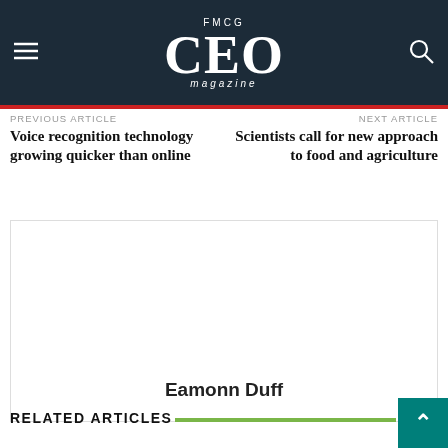FMCG CEO magazine
PREVIOUS ARTICLE
Voice recognition technology growing quicker than online
NEXT ARTICLE
Scientists call for new approach to food and agriculture
[Figure (other): Author card placeholder with name Eamonn Duff]
RELATED ARTICLES